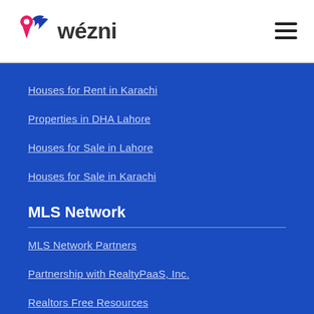[Figure (logo): Wezni logo with pink map pin and blue swoosh marks, followed by the text 'wézni' in dark gray bold font]
Houses for Rent in Karachi
Properties in DHA Lahore
Houses for Sale in Lahore
Houses for Sale in Karachi
MLS Network
MLS Network Partners
Partnership with RealtyPaaS, Inc.
Realtors Free Resources
Major Town Maps